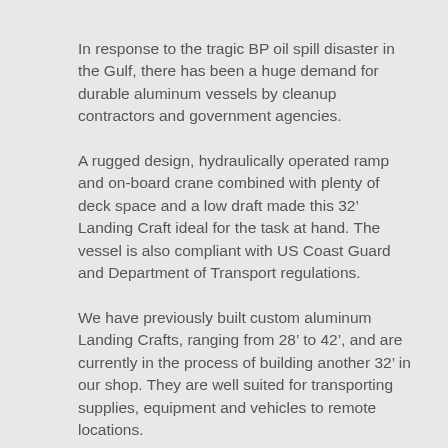In response to the tragic BP oil spill disaster in the Gulf, there has been a huge demand for durable aluminum vessels by cleanup contractors and government agencies.
A rugged design, hydraulically operated ramp and on-board crane combined with plenty of deck space and a low draft made this 32’ Landing Craft ideal for the task at hand. The vessel is also compliant with US Coast Guard and Department of Transport regulations.
We have previously built custom aluminum Landing Crafts, ranging from 28’ to 42’, and are currently in the process of building another 32’ in our shop. They are well suited for transporting supplies, equipment and vehicles to remote locations.